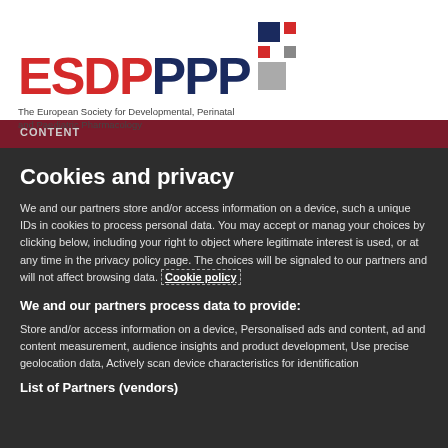[Figure (logo): ESDPPP logo with red ESDP and blue PPP text, geometric squares icon on right, tagline below]
Cookies and privacy
We and our partners store and/or access information on a device, such as unique IDs in cookies to process personal data. You may accept or manage your choices by clicking below, including your right to object where legitimate interest is used, or at any time in the privacy policy page. These choices will be signaled to our partners and will not affect browsing data. Cookie policy
We and our partners process data to provide:
Store and/or access information on a device, Personalised ads and content, ad and content measurement, audience insights and product development, Use precise geolocation data, Actively scan device characteristics for identification
List of Partners (vendors)